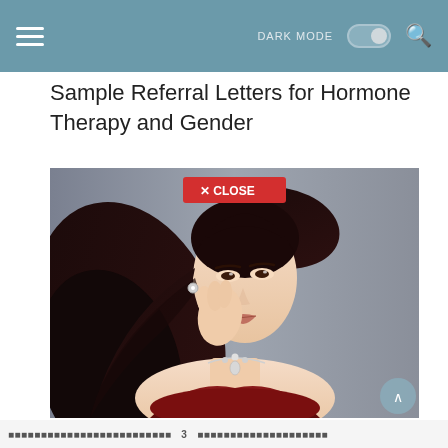DARK MODE [toggle] [search]
Sample Referral Letters for Hormone Therapy and Gender
[Figure (photo): Portrait photo of a young woman with long dark flowing hair, resting her cheek on her hand, wearing a red dress and diamond necklace, with a close button overlay in the center top]
[redacted text] 3 [redacted text]